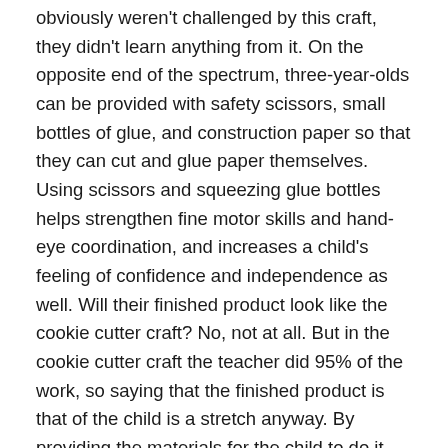obviously weren't challenged by this craft, they didn't learn anything from it. On the opposite end of the spectrum, three-year-olds can be provided with safety scissors, small bottles of glue, and construction paper so that they can cut and glue paper themselves. Using scissors and squeezing glue bottles helps strengthen fine motor skills and hand-eye coordination, and increases a child's feeling of confidence and independence as well. Will their finished product look like the cookie cutter craft? No, not at all. But in the cookie cutter craft the teacher did 95% of the work, so saying that the finished product is that of the child is a stretch anyway. By providing the materials for the child to do it themselves, we are assured to gain a product that is uniquely the child's work. Is it messier than the cookie cutter craft? Infinitely more messy. But we can argue that the mess is worth it for many reasons. The child is gaining